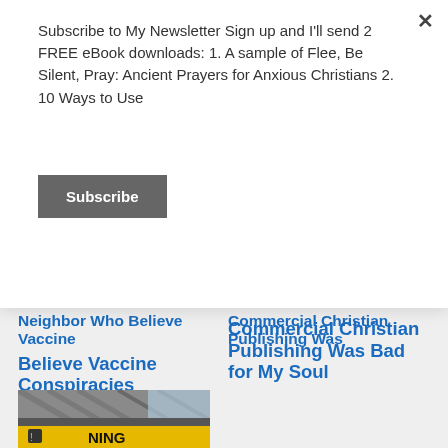Subscribe to My Newsletter Sign up and I'll send 2 FREE eBook downloads: 1. A sample of Flee, Be Silent, Pray: Ancient Prayers for Anxious Christians 2. 10 Ways to Use
Subscribe
Believe Vaccine Conspiracies
December 1, 2020
In "Christian Living"
Commercial Christian Publishing Was Bad for My Soul
March 23, 2015
In "Christian Living"
[Figure (photo): Partial view of a photo showing what appears to be an airport or transit station with a yellow warning sign, partially cut off at bottom of page]